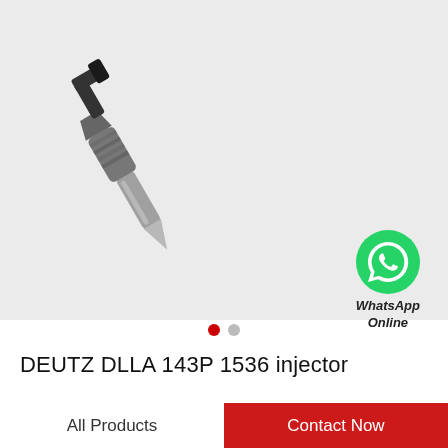[Figure (photo): Photo of a DEUTZ DLLA 143P 1536 common rail diesel fuel injector, metallic grey and black, shown at a diagonal angle on a light grey background. A WhatsApp Online badge with green phone icon is overlaid in the lower right corner.]
WhatsApp Online
DEUTZ DLLA 143P 1536 injector
All Products
Contact Now